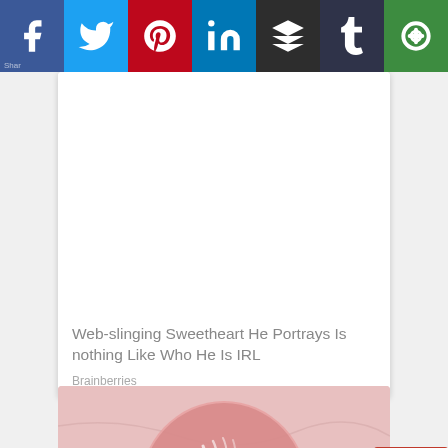[Figure (screenshot): Social media share bar with icons: Facebook (blue), Twitter (light blue), Pinterest (red), LinkedIn (dark blue), Buffer (dark gray), Tumblr (dark navy), and a green icon (Get Pocket/other)]
[Figure (screenshot): Article card with white background showing blank image area and text: 'Web-slinging Sweetheart He Portrays Is nothing Like Who He Is IRL' by Brainberries]
Web-slinging Sweetheart He Portrays Is nothing Like Who He Is IRL
Brainberries
[Figure (photo): Pink background with a rounded glass or crystal ball object, partially showing brownish elements underneath, in tissue paper packaging]